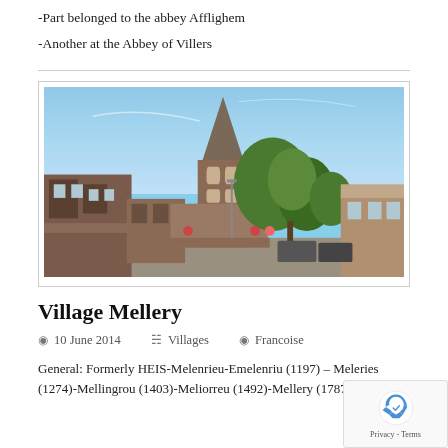-Part belonged to the abbey Afflighem
-Another at the Abbey of Villers
[Figure (photo): Photograph of Village Mellery showing a brick church with a steeple in the center, surrounded by brick buildings and trees under a blue sky.]
Village Mellery
10 June 2014   Villages   Francoise
General: Formerly HEIS-Melenrieu-Emelenriu (1197) – Meleries (1274)-Mellingrou (1403)-Meliorreu (1492)-Mellery (1787) Video